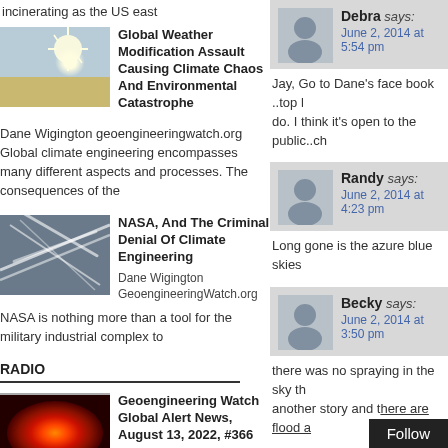incinerating as the US east
[Figure (photo): Thumbnail image of sun shining through sky]
Global Weather Modification Assault Causing Climate Chaos And Environmental Catastrophe
Dane Wigington geoengineeringwatch.org Global climate engineering encompasses many different aspects and processes. The consequences of the
[Figure (photo): Thumbnail image of chemtrails/contrails in sky]
NASA, And The Criminal Denial Of Climate Engineering
Dane Wigington GeoengineeringWatch.org NASA is nothing more than a tool for the military industrial complex to
RADIO
[Figure (photo): Thumbnail radar/weather map image]
Geoengineering Watch Global Alert News, August 13, 2022, #366
Debra says:
June 2, 2014 at 5:54 pm
Jay, Go to Dane's face book ..top l
do. I think it's open to the public..ch
Randy says:
June 2, 2014 at 4:23 pm
Long gone is the azure blue skies
Becky says:
June 2, 2014 at 3:50 pm
there was no spraying in the sky th
another story and there are flood a